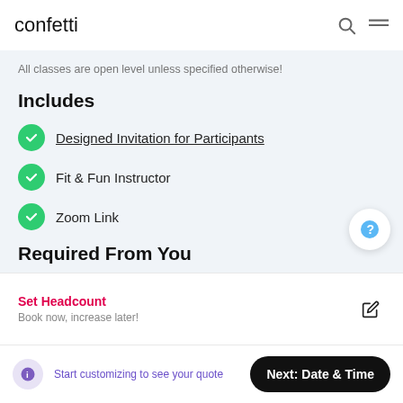confetti
All classes are open level unless specified otherwise!
Includes
Designed Invitation for Participants
Fit & Fun Instructor
Zoom Link
Required From You
Cameras On
Set Headcount
Book now, increase later!
Start customizing to see your quote
Next: Date & Time